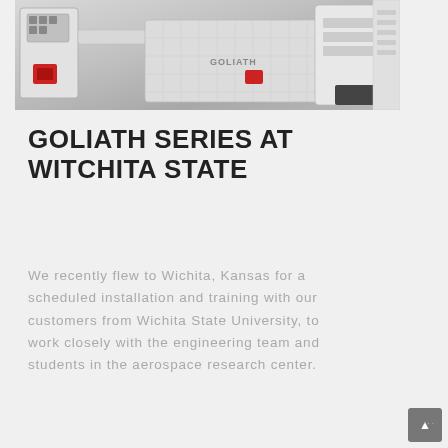[Figure (photo): Photo of a Goliath CNC machine installed in a laboratory setting, showing a large white CNC milling machine with a red logo and a long flat bed, taken in what appears to be an aerospace research facility.]
GOLIATH SERIES AT WITCHITA STATE
We recently flew to Wichita, Kansas for a scheduled installation and training with our customers from Wichita State University, to work closely with the engineering team and students in the aerospace research center.